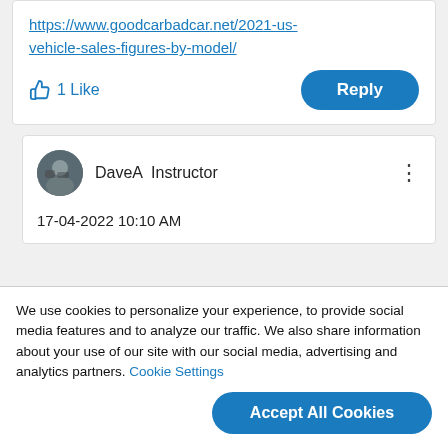https://www.goodcarbadcar.net/2021-us-vehicle-sales-figures-by-model/
1 Like
Reply
DaveA  Instructor
17-04-2022 10:10 AM
We use cookies to personalize your experience, to provide social media features and to analyze our traffic. We also share information about your use of our site with our social media, advertising and analytics partners. Cookie Settings
Accept All Cookies